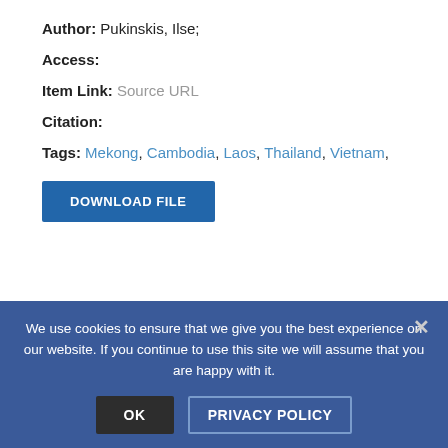Author: Pukinskis, Ilse;
Access:
Item Link: Source URL
Citation:
Tags: Mekong, Cambodia, Laos, Thailand, Vietnam,
DOWNLOAD FILE
< PREVIOUS   1 ... 791 792 793 794 795
We use cookies to ensure that we give you the best experience on our website. If you continue to use this site we will assume that you are happy with it.
OK
PRIVACY POLICY